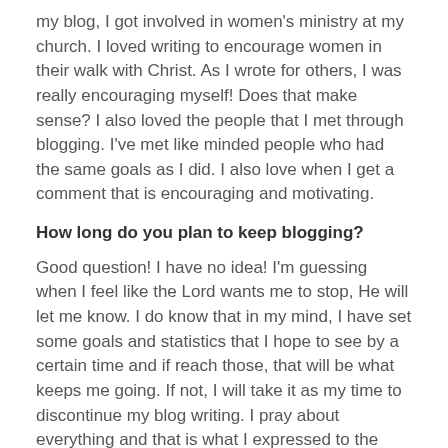my blog, I got involved in women's ministry at my church. I loved writing to encourage women in their walk with Christ. As I wrote for others, I was really encouraging myself! Does that make sense? I also loved the people that I met through blogging. I've met like minded people who had the same goals as I did. I also love when I get a comment that is encouraging and motivating.
How long do you plan to keep blogging?
Good question! I have no idea! I'm guessing when I feel like the Lord wants me to stop, He will let me know. I do know that in my mind, I have set some goals and statistics that I hope to see by a certain time and if reach those, that will be what keeps me going. If not, I will take it as my time to discontinue my blog writing. I pray about everything and that is what I expressed to the Lord.
What is your purpose for your blog?